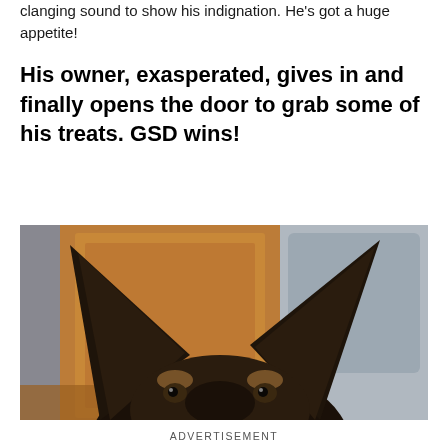clanging sound to show his indignation. He's got a huge appetite!
His owner, exasperated, gives in and finally opens the door to grab some of his treats. GSD wins!
[Figure (photo): Close-up photo of a German Shepherd dog's face and large pointed ears, viewed from above, with a wooden cabinet and grey appliance in the background.]
ADVERTISEMENT